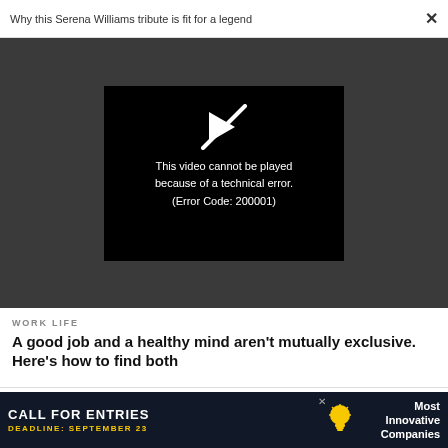Why this Serena Williams tribute is fit for a legend  ×
[Figure (screenshot): Video player with black background showing error message: 'This video cannot be played because of a technical error. (Error Code: 200001)' with a crossed-out play icon above]
WORK LIFE
A good job and a healthy mind aren't mutually exclusive. Here's how to find both
WORK LIFE
[Figure (infographic): Advertisement banner: CALL FOR ENTRIES, DEADLINE: SEPTEMBER 23, Most Innovative Companies, with light bulb icon]